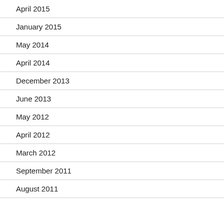April 2015
January 2015
May 2014
April 2014
December 2013
June 2013
May 2012
April 2012
March 2012
September 2011
August 2011